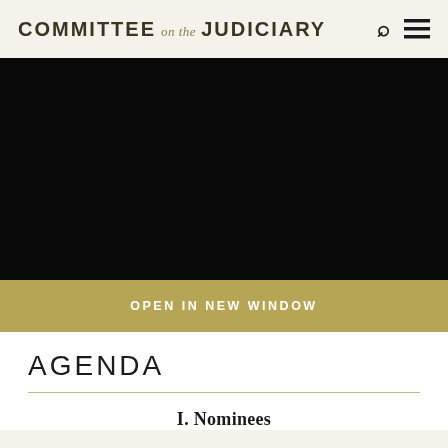COMMITTEE on the JUDICIARY
[Figure (screenshot): Black video player area — a dark/black rectangular region representing an embedded video player]
OPEN IN NEW WINDOW
AGENDA
I. Nominees